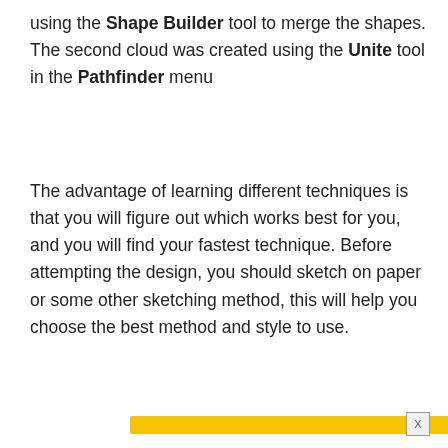using the Shape Builder tool to merge the shapes. The second cloud was created using the Unite tool in the Pathfinder menu
The advantage of learning different techniques is that you will figure out which works best for you, and you will find your fastest technique. Before attempting the design, you should sketch on paper or some other sketching method, this will help you choose the best method and style to use.
[Figure (other): Advertisement banner bar in yellow/gold color with close button (X) and arrow]